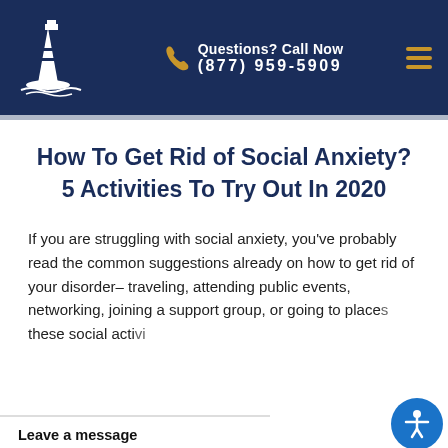Questions? Call Now (877) 959-5909
How To Get Rid of Social Anxiety? 5 Activities To Try Out In 2020
If you are struggling with social anxiety, you've probably read the common suggestions already on how to get rid of your disorder– traveling, attending public events, networking, joining a support group, or going to places… these social activi…